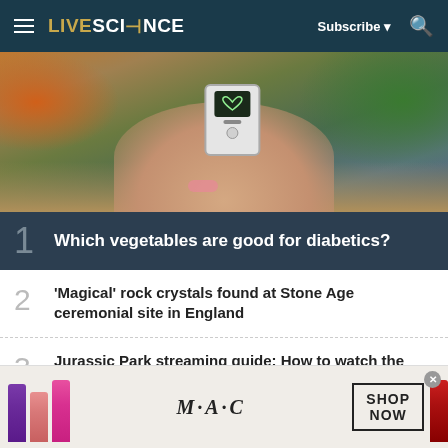LIVESCIENCE | Subscribe | Search
[Figure (photo): Person holding a glucose meter device with a heart symbol on screen, hands resting on a table with vegetables including carrots and broccoli in the background]
1 Which vegetables are good for diabetics?
2 'Magical' rock crystals found at Stone Age ceremonial site in England
3 Jurassic Park streaming guide: How to watch the Jurassic Park movies online
[Figure (photo): MAC Cosmetics advertisement showing lipsticks in purple, pink, and red colors with MAC logo and 'SHOP NOW' button]